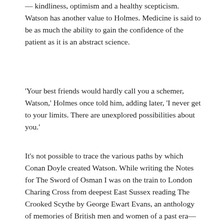— kindliness, optimism and a healthy scepticism. Watson has another value to Holmes. Medicine is said to be as much the ability to gain the confidence of the patient as it is an abstract science.
'Your best friends would hardly call you a schemer, Watson,' Holmes once told him, adding later, 'I never get to your limits. There are unexplored possibilities about you.'
It's not possible to trace the various paths by which Conan Doyle created Watson. While writing the Notes for The Sword of Osman I was on the train to London Charing Cross from deepest East Sussex reading The Crooked Scythe by George Ewart Evans, an anthology of memories of British men and women of a past era—farm labourers, shepherds, horsemen, blacksmiths, wheelwrights, sailors, fisherman, miners, maltsters, domestic servants. The introduction by a David Gentleman described the author Evans as follows: 'George was in his mid-fifties when I first saw him…